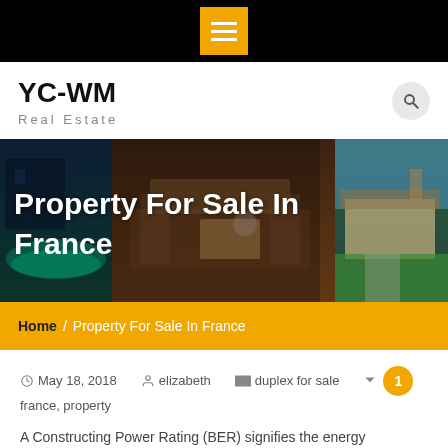YC-WM Real Estate - navigation bar with menu icon
YC-WM
Real Estate
[Figure (photo): Hero banner with 4 property photos showing pool area, kitchen interior, ranch-style house exterior, and patio furniture, with overlay text 'Property For Sale In France']
Property For Sale In France
Home / Property For Sale In France
May 18, 2018   elizabeth   duplex for sale
france, property
A Constructing Power Rating (BER) signifies the energy